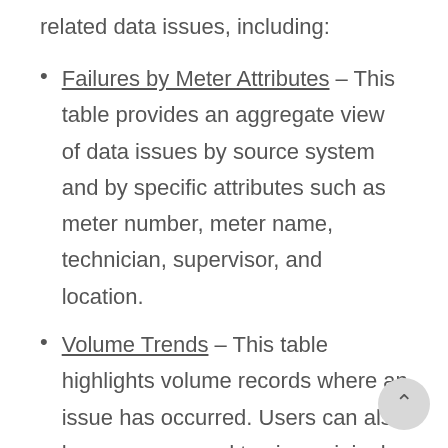related data issues, including:
Failures by Meter Attributes – This table provides an aggregate view of data issues by source system and by specific attributes such as meter number, meter name, technician, supervisor, and location.
Volume Trends – This table highlights volume records where an issue has occurred. Users can also hover over record to view original and current